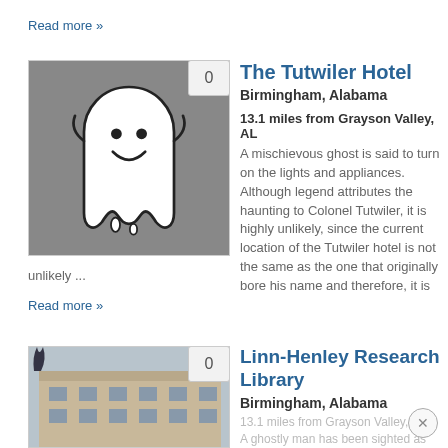Read more »
The Tutwiler Hotel
Birmingham, Alabama
13.1 miles from Grayson Valley, AL
A mischievous ghost is said to turn on the lights and appliances. Although legend attributes the haunting to Colonel Tutwiler, it is highly unlikely, since the current location of the Tutwiler hotel is not the same as the one that originally bore his name and therefore, it is unlikely ...
[Figure (illustration): Ghost cartoon illustration on grey background with badge showing '0']
Read more »
Linn-Henley Research Library
Birmingham, Alabama
13.1 miles from Grayson Valley, AL
A ghostly man has been sighted as well as objects moving by themselves and reposs...
[Figure (photo): Photo of brick building (library) with grey sky, badge showing '0']